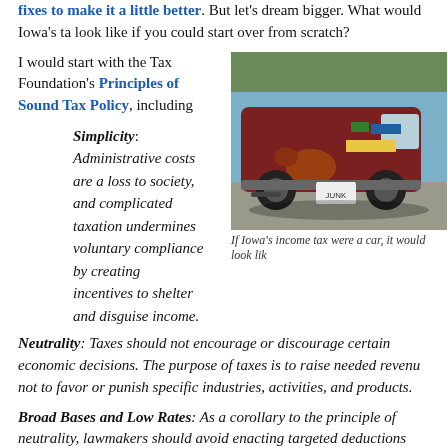fixes to make it a little better. But let's dream bigger. What would Iowa's tax look like if you could start over from scratch?
I would start with the Tax Foundation's Principles of Sound Tax Policy, including
[Figure (photo): A rusted, beat-up maroon station wagon with bumper stickers photographed from behind in a parking lot.]
If Iowa's income tax were a car, it would look lik
Simplicity: Administrative costs are a loss to society, and complicated taxation undermines voluntary compliance by creating incentives to shelter and disguise income.
Neutrality: Taxes should not encourage or discourage certain economic decisions. The purpose of taxes is to raise needed revenue, not to favor or punish specific industries, activities, and products.
Broad Bases and Low Rates: As a corollary to the principle of neutrality, lawmakers should avoid enacting targeted deductions